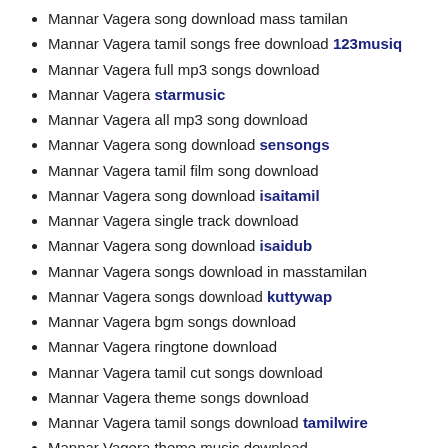Mannar Vagera song download mass tamilan
Mannar Vagera tamil songs free download 123musiq
Mannar Vagera full mp3 songs download
Mannar Vagera starmusic
Mannar Vagera all mp3 song download
Mannar Vagera song download sensongs
Mannar Vagera tamil film song download
Mannar Vagera song download isaitamil
Mannar Vagera single track download
Mannar Vagera song download isaidub
Mannar Vagera songs download in masstamilan
Mannar Vagera songs download kuttywap
Mannar Vagera bgm songs download
Mannar Vagera ringtone download
Mannar Vagera tamil cut songs download
Mannar Vagera theme songs download
Mannar Vagera tamil songs download tamilwire
Mannar Vagera theme music download
Recent Posts